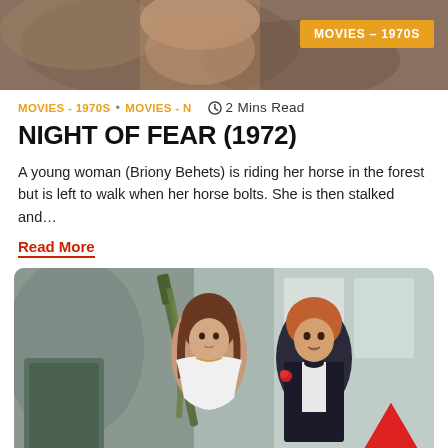[Figure (photo): Top partial photo showing close-up of a person's back/shoulder, out of focus natural background. Orange badge reading 'MOVIES – 1970S' in top right corner.]
MOVIES - 1970S • MOVIES - N    🕐 2 Mins Read
NIGHT OF FEAR (1972)
A young woman (Briony Behets) is riding her horse in the forest but is left to walk when her horse bolts. She is then stalked and…
Read More
[Figure (photo): Movie still from a film showing a woman in a white strapless dress holding a rifle with a green strap, and a man in a black tuxedo with bow tie standing beside her holding the rifle. Both look alarmed. A red upward arrow button is visible in the bottom right corner.]